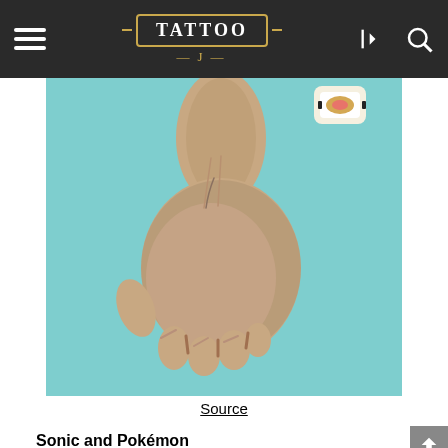TATTOO J
[Figure (photo): A human hand photographed against a light teal/cyan background, showing the back of the hand and wrist. A small sushi roll is visible in the upper right corner of the image.]
Source
Sonic and Pokémon
Shop A Variety Of High Quality Photo Products At CVS® Today.